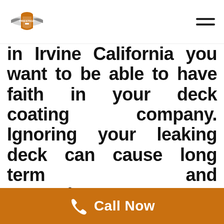Prestige Deck Coating logo and navigation menu
in Irvine California you want to be able to have faith in your deck coating company. Ignoring your leaking deck can cause long term and expensive structural damage, By hiring Prestige Deck Coating you are stopping this problem at the source. Our foreman are
Call Now